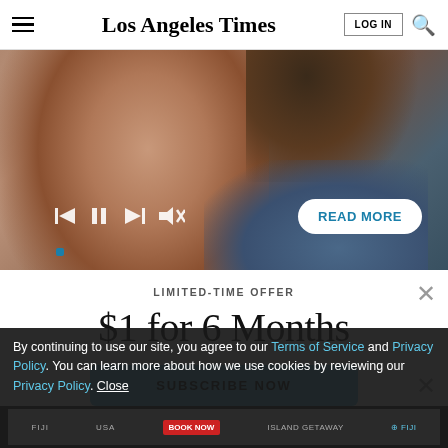Los Angeles Times
[Figure (photo): Close-up photo of a man's face (with beard and green/blue eyes), with media player controls (skip back, pause, skip forward, mute) overlaid at bottom left and a READ MORE button at bottom right, plus a blue progress indicator dot.]
LIMITED-TIME OFFER
$1 for 6 Months
SUBSCRIBE NOW
By continuing to use our site, you agree to our Terms of Service and Privacy Policy. You can learn more about how we use cookies by reviewing our Privacy Policy. Close